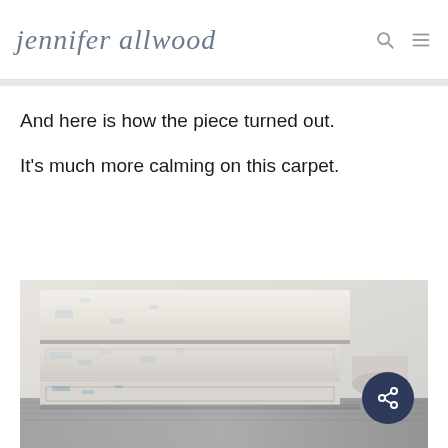jennifer allwood
And here is how the piece turned out.
It's much more calming on this carpet.
[Figure (photo): Close-up photo of a white distressed/chalk-painted wooden furniture piece showing chippy paint with blue undertones, sitting on a patterned carpet]